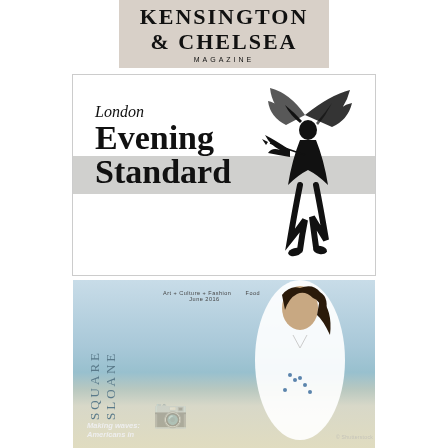[Figure (logo): Kensington & Chelsea Magazine logo on grey-brown background]
[Figure (logo): London Evening Standard newspaper logo with Eros statue illustration on white background with grey bar]
[Figure (photo): Sloane Square magazine cover, June 2016. Shows a woman in white dress against sea backdrop. Title reads 'Sloane Square' vertically. Tagline: Art + Culture + Fashion + Food. Bottom text: Making waves: Americans in...]